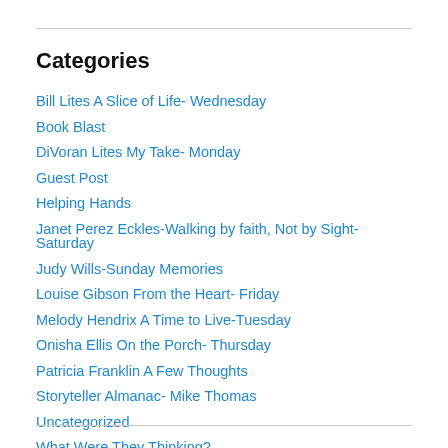Categories
Bill Lites A Slice of Life- Wednesday
Book Blast
DiVoran Lites My Take- Monday
Guest Post
Helping Hands
Janet Perez Eckles-Walking by faith, Not by Sight-Saturday
Judy Wills-Sunday Memories
Louise Gibson From the Heart- Friday
Melody Hendrix A Time to Live-Tuesday
Onisha Ellis On the Porch- Thursday
Patricia Franklin A Few Thoughts
Storyteller Almanac- Mike Thomas
Uncategorized
What Were They Thinking?
Year in Review